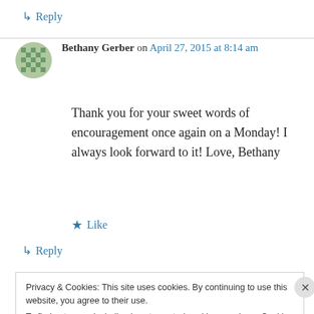↳ Reply
Bethany Gerber on April 27, 2015 at 8:14 am
Thank you for your sweet words of encouragement once again on a Monday! I always look forward to it! Love, Bethany
★ Like
↳ Reply
Privacy & Cookies: This site uses cookies. By continuing to use this website, you agree to their use.
To find out more, including how to control cookies, see here: Cookie Policy
Close and accept